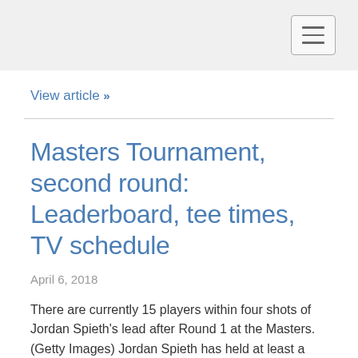[Navigation header with hamburger menu icon]
View article »
Masters Tournament, second round: Leaderboard, tee times, TV schedule
April 6, 2018
There are currently 15 players within four shots of Jordan Spieth’s lead after Round 1 at the Masters. (Getty Images) Jordan Spieth has held at least a